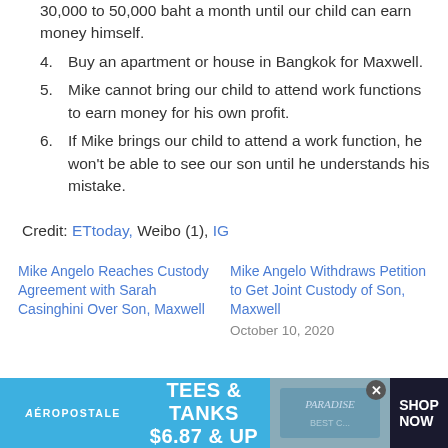30,000 to 50,000 baht a month until our child can earn money himself.
4. Buy an apartment or house in Bangkok for Maxwell.
5. Mike cannot bring our child to attend work functions to earn money for his own profit.
6. If Mike brings our child to attend a work function, he won't be able to see our son until he understands his mistake.
Credit: ETtoday, Weibo (1), IG
Mike Angelo Reaches Custody Agreement with Sarah Casinghini Over Son, Maxwell
Mike Angelo Withdraws Petition to Get Joint Custody of Son, Maxwell
October 10, 2020
[Figure (screenshot): Aeropostale advertisement banner: TEES & TANKS $6.87 & UP, SHOP NOW]